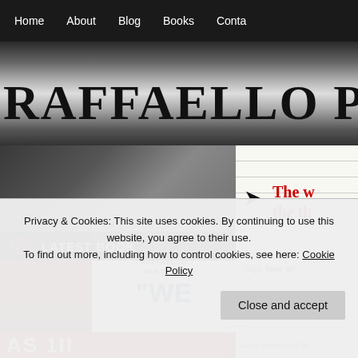Home | About | Blog | Books | Contact
RAFFAELLO PANT
[Figure (screenshot): Website screenshot showing book cover for 'WE' by Raffaello Pantucci, with a Latest Book banner]
The w... the th...
Posted: Octob...
Tags: lone ac...
Privacy & Cookies: This site uses cookies. By continuing to use this website, you agree to their use.
To find out more, including how to control cookies, see here: Cookie Policy
Close and accept